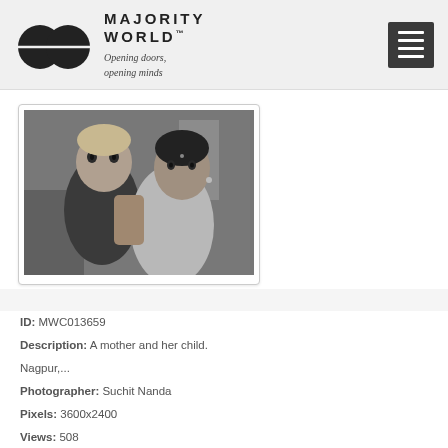[Figure (logo): Majority World logo with two overlapping circles and the text MAJORITY WORLD Opening doors, opening minds]
[Figure (photo): Black and white photograph of a mother holding her child. Nagpur.]
ID: MWC013659
Description: A mother and her child. Nagpur,...
Photographer: Suchit Nanda
Pixels: 3600x2400
Views: 508
Filesize: 3.15MB
Filename: MWC013659.jpg